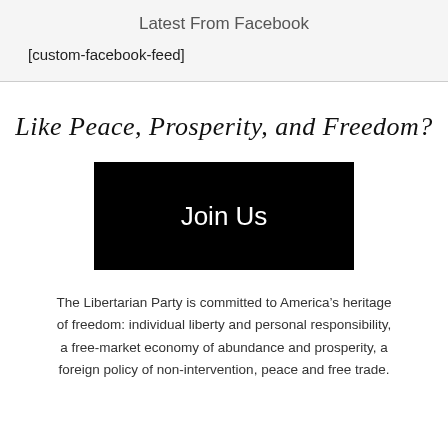Latest From Facebook
[custom-facebook-feed]
Like Peace, Prosperity, and Freedom?
[Figure (other): Black button with white text reading 'Join Us']
The Libertarian Party is committed to America’s heritage of freedom: individual liberty and personal responsibility, a free-market economy of abundance and prosperity, a foreign policy of non-intervention, peace and free trade.